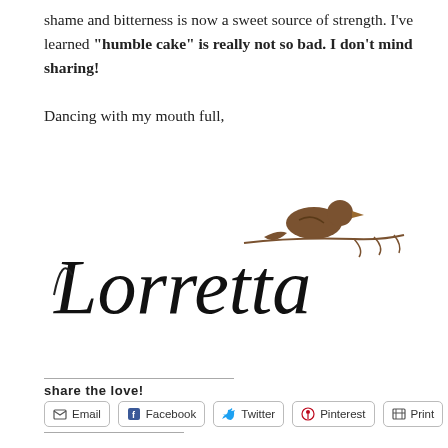shame and bitterness is now a sweet source of strength. I've learned "humble cake" is really not so bad. I don't mind sharing!
Dancing with my mouth full,
[Figure (illustration): Handwritten cursive signature reading 'Lorretta' with a small brown bird perched on a branch above/to the right]
share the love!
Email | Facebook | Twitter | Pinterest | Print
Like this:
Like